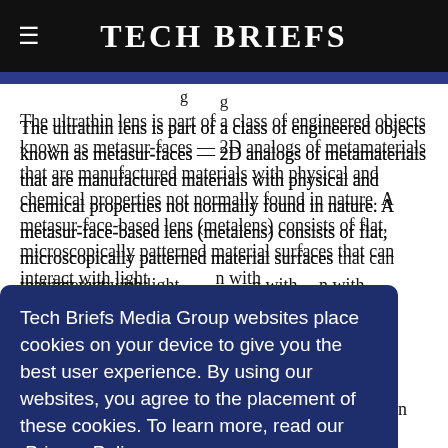Tech Briefs
The ultrathin lens is part of a class of engineered objects known as metasur-faces — 2D analogs of metamaterials that are manufactured materials with physical and chemical properties not normally found in nature. A metasur-face-based lens (metalens) consists of flat, microscopically patterned material surfaces that can interact with light waves. Traditional lenses with visual ... very low ... consist of columns or structures can interact with individual lightwaves with precision that
Tech Briefs Media Group websites place cookies on your device to give you the best user experience. By using our websites, you agree to the placement of these cookies. To learn more, read our Privacy Policy.
Accept & Continue